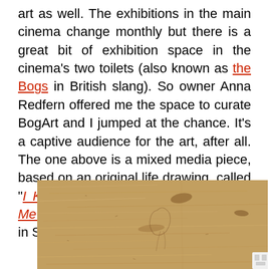art as well. The exhibitions in the main cinema change monthly but there is a great bit of exhibition space in the cinema's two toilets (also known as the Bogs in British slang). So owner Anna Redfern offered me the space to curate BogArt and I jumped at the chance. It's a captive audience for the art, after all. The one above is a mixed media piece, based on an original life drawing, called "I Knows 'Ew Luvs Me Cos 'Ew Buys Me Chips" which is a bit of a joke here in Swansea....
[Figure (photo): Photo of a rough wooden board or chipboard wall panel, showing a textured surface of compressed wood fibers and strands, with a faint drawing or mark visible, and a white electrical outlet partially visible at the bottom right.]